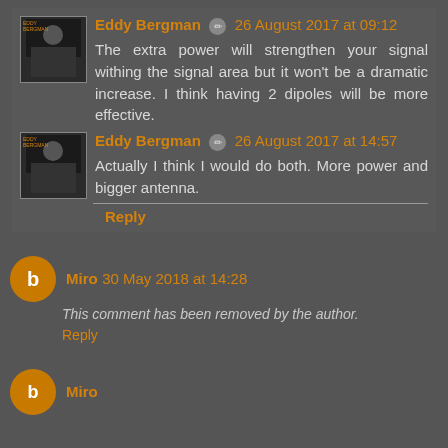Eddy Bergman ✏ 26 August 2017 at 09:12
The extra power will strengthen your signal withing the signal area but it won't be a dramatic increase. I think having 2 dipoles will be more effective.
Eddy Bergman ✏ 26 August 2017 at 14:57
Actually I think I would do both. More power and bigger antenna.
Reply
Miro 30 May 2018 at 14:28
This comment has been removed by the author.
Reply
Miro